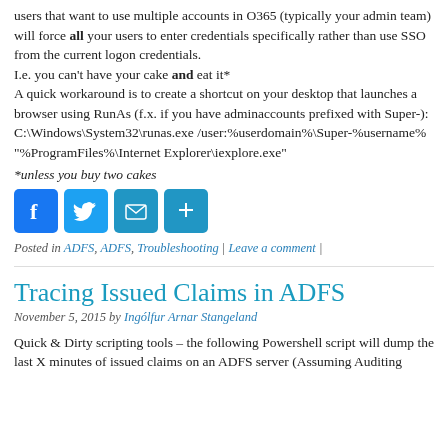users that want to use multiple accounts in O365 (typically your admin team) will force all your users to enter credentials specifically rather than use SSO from the current logon credentials.
I.e. you can't have your cake and eat it*
A quick workaround is to create a shortcut on your desktop that launches a browser using RunAs (f.x. if you have adminaccounts prefixed with Super-):
C:\Windows\System32\runas.exe /user:%userdomain%\Super-%username% "%ProgramFiles%\Internet Explorer\iexplore.exe"
*unless you buy two cakes
[Figure (infographic): Social sharing icons: Facebook, Twitter, Email, Share]
Posted in ADFS, ADFS, Troubleshooting | Leave a comment |
Tracing Issued Claims in ADFS
November 5, 2015 by Ingólfur Arnar Stangeland
Quick & Dirty scripting tools – the following Powershell script will dump the last X minutes of issued claims on an ADFS server (Assuming Auditing